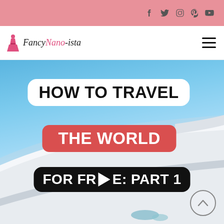Social media icons bar (Facebook, Twitter, Instagram, Pinterest, YouTube)
[Figure (logo): Fancy Nano-ista blog logo with cursive script text and pink dress icon]
[Figure (screenshot): Blog hero image showing airplane wing against blue sky with text overlays: HOW TO TRAVEL, THE WORLD, FOR FREE: PART 1 with play button icon]